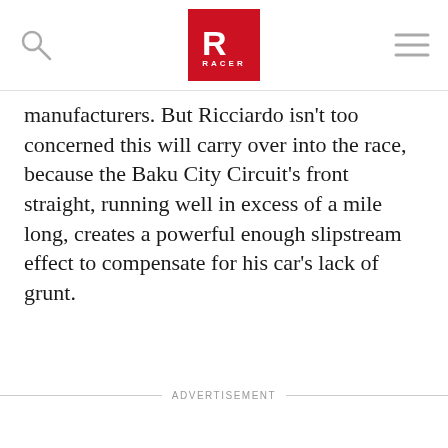RACER
manufacturers. But Ricciardo isn't too concerned this will carry over into the race, because the Baku City Circuit's front straight, running well in excess of a mile long, creates a powerful enough slipstream effect to compensate for his car's lack of grunt.
ADVERTISEMENT